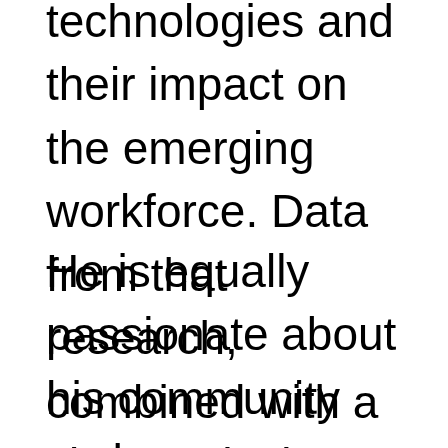technologies and their impact on the emerging workforce. Data from that research, combined with a sincere desire to improve emergency and disaster response outcomes, ultimately led to the creation of DroneUp and DART.
He is equally passionate about his community and serves on several regional boards. Additionally, he provides financial and volunteer assistance to dozens of other organizations and is a frequent speaker at various corporate and organizational events.